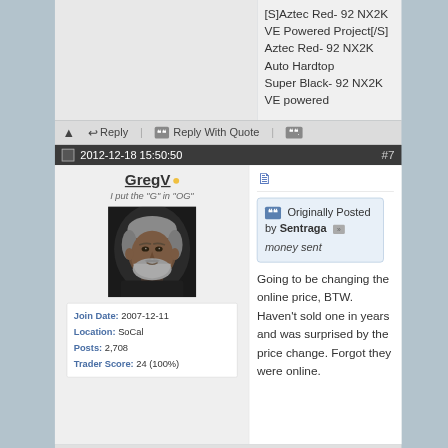[S]Aztec Red- 92 NX2K VE Powered Project[/S]
Aztec Red- 92 NX2K Auto Hardtop
Super Black- 92 NX2K VE powered
⚠   ↩ Reply  |  ❝ Reply With Quote  |  ❝.
2012-12-18 15:50:50   #7
GregV
I put the "G" in "OG"
[Figure (photo): Avatar photo of a middle-aged man with gray beard and dark clothing]
| Join Date: | 2007-12-11 |
| Location: | SoCal |
| Posts: | 2,708 |
| Trader Score: | 24 (100%) |
❝❝  Originally Posted by Sentraga »
money sent
Going to be changing the online price, BTW. Haven't sold one in years and was surprised by the price change. Forgot they were online.